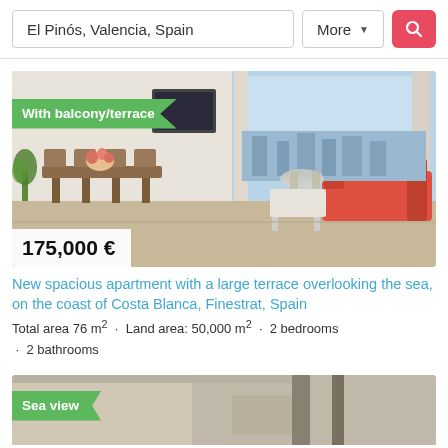El Pinós, Valencia, Spain
More
[Figure (photo): Interior of a modern apartment with large terrace/sliding glass doors overlooking a city view, featuring a dining table, sofa, and contemporary furnishings. Price overlay: 175,000 €. Badge: With balcony/terrace.]
New spacious apartment with a large terrace overlooking the sea, on the coast of Costa Blanca, Finestrat, Spain
Total area 76 m² · Land area: 50,000 m² · 2 bedrooms · 2 bathrooms
[Figure (photo): Partial view of a second property listing image with a Sea view badge visible.]